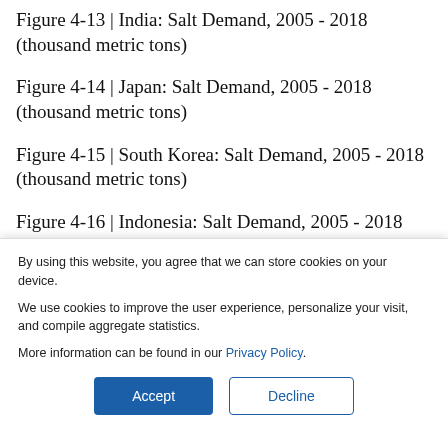Figure 4-13 | India: Salt Demand, 2005 - 2018 (thousand metric tons)
Figure 4-14 | Japan: Salt Demand, 2005 - 2018 (thousand metric tons)
Figure 4-15 | South Korea: Salt Demand, 2005 - 2018 (thousand metric tons)
Figure 4-16 | Indonesia: Salt Demand, 2005 - 2018 (thousand metric tons)
By using this website, you agree that we can store cookies on your device.
We use cookies to improve the user experience, personalize your visit, and compile aggregate statistics.
More information can be found in our Privacy Policy.